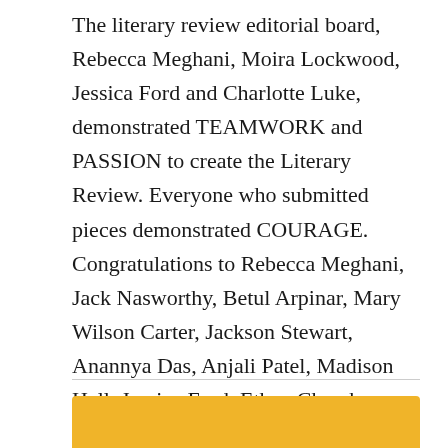The literary review editorial board, Rebecca Meghani, Moira Lockwood, Jessica Ford and Charlotte Luke, demonstrated TEAMWORK and PASSION to create the Literary Review. Everyone who submitted pieces demonstrated COURAGE. Congratulations to Rebecca Meghani, Jack Nasworthy, Betul Arpinar, Mary Wilson Carter, Jackson Stewart, Anannya Das, Anjali Patel, Madison Hall, Jessica Ford, Ethan Chambers, Hilary Adams, Kamara Adogu, Elliot Williamson, Anna Barkley, Reese Trigleth, Alexa Whitmore, William Leach, Lucy Waugh and Moira Lockwood on having their work chosen for publication in the literary review.